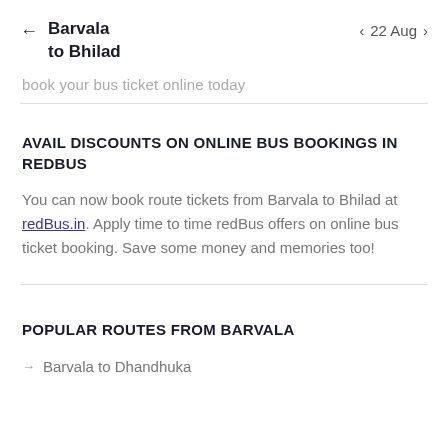Barvala to Bhilad  ← | 22 Aug ‹ ›
book your bus ticket online today
AVAIL DISCOUNTS ON ONLINE BUS BOOKINGS IN REDBUS
You can now book route tickets from Barvala to Bhilad at redBus.in. Apply time to time redBus offers on online bus ticket booking. Save some money and memories too!
POPULAR ROUTES FROM BARVALA
Barvala to Dhandhuka